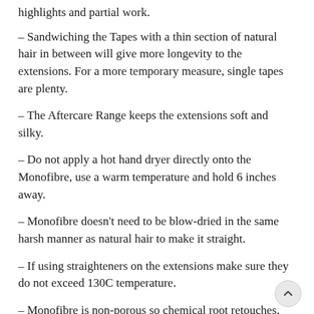highlights and partial work.
– Sandwiching the Tapes with a thin section of natural hair in between will give more longevity to the extensions. For a more temporary measure, single tapes are plenty.
– The Aftercare Range keeps the extensions soft and silky.
– Do not apply a hot hand dryer directly onto the Monofibre, use a warm temperature and hold 6 inches away.
– Monofibre doesn't need to be blow-dried in the same harsh manner as natural hair to make it straight.
– If using straighteners on the extensions make sure they do not exceed 130C temperature.
– Monofibre is non-porous so chemical root retouches, chlorine and seawater won't affect the texture or colour of the extensio…